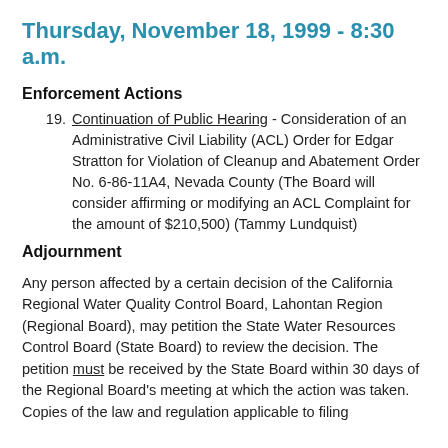Thursday, November 18, 1999 - 8:30 a.m.
Enforcement Actions
19. Continuation of Public Hearing - Consideration of an Administrative Civil Liability (ACL) Order for Edgar Stratton for Violation of Cleanup and Abatement Order No. 6-86-11A4, Nevada County (The Board will consider affirming or modifying an ACL Complaint for the amount of $210,500) (Tammy Lundquist)
Adjournment
Any person affected by a certain decision of the California Regional Water Quality Control Board, Lahontan Region (Regional Board), may petition the State Water Resources Control Board (State Board) to review the decision. The petition must be received by the State Board within 30 days of the Regional Board's meeting at which the action was taken. Copies of the law and regulation applicable to filing